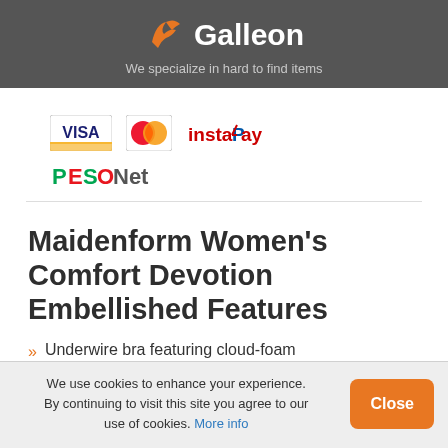Galleon — We specialize in hard to find items
[Figure (logo): Payment logos: Visa, MasterCard, instaPay, PESONet]
Maidenform Women's Comfort Devotion Embellished Features
Underwire bra featuring cloud-foam
We use cookies to enhance your experience. By continuing to visit this site you agree to our use of cookies. More info